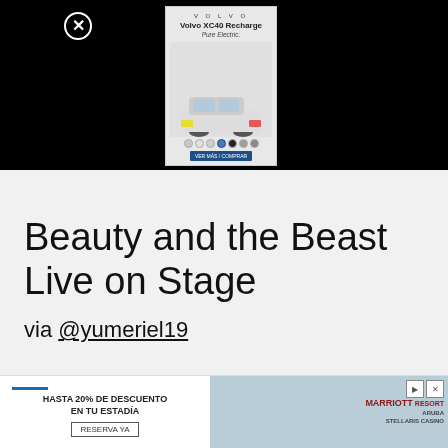[Figure (screenshot): Volvo XC40 Recharge advertisement with close button, showing car image and color options]
Beauty and the Beast Live on Stage
via @yumeriel19
[Figure (screenshot): Marriott hotel advertisement: HASTA 20% DE DESCUENTO EN TU ESTADÍA RESERVA YA]